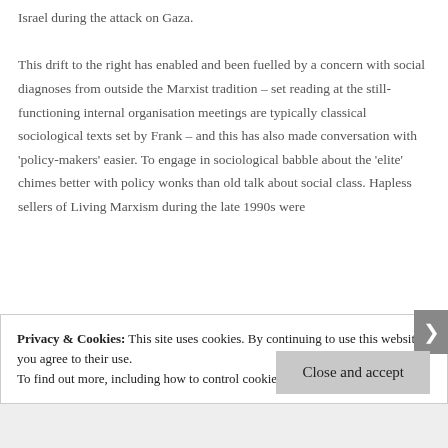Israel during the attack on Gaza.

This drift to the right has enabled and been fuelled by a concern with social diagnoses from outside the Marxist tradition – set reading at the still-functioning internal organisation meetings are typically classical sociological texts set by Frank – and this has also made conversation with 'policy-makers' easier. To engage in sociological babble about the 'elite' chimes better with policy wonks than old talk about social class. Hapless sellers of Living Marxism during the late 1990s were
Privacy & Cookies: This site uses cookies. By continuing to use this website, you agree to their use.
To find out more, including how to control cookies, see here: Cookie Policy
Close and accept